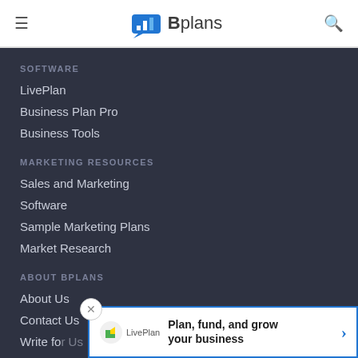Bplans
SOFTWARE
LivePlan
Business Plan Pro
Business Tools
MARKETING RESOURCES
Sales and Marketing
Software
Sample Marketing Plans
Market Research
ABOUT BPLANS
About Us
Contact Us
Write for Us
Advertise
Plan, fund, and grow your business